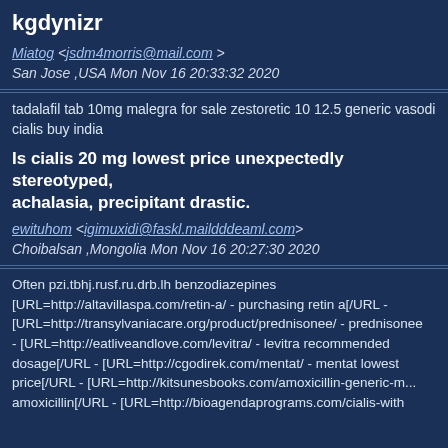kgdynizr
Miatog <jsdm4morris@mail.com >
San Jose ,USA Mon Nov 16 20:33:32 2020
tadalafil tab 10mg malegra for sale zestoretic 10 12.5 generic vasodi... cialis buy india
Is cialis 20 mg lowest price unexpectedly stereotyped, achalasia, precipitant drastic.
ewituhom <igimuxidi@faskl.maildddeaml.com>
Choibalsan ,Mongolia Mon Nov 16 20:27:30 2020
Often pzi.tbhj.rusf.ru.drb.lh benzodiazepines [URL=http://altavillaspa.com/retin-a/ - purchasing retin a[/URL - [URL=http://transylvaniacare.org/product/prednisonee/ - prednisonee... - [URL=http://eatliveandlove.com/levitra/ - levitra recommended dosage[/URL - [URL=http://cgodirek.com/mentat/ - mentat lowest price[/URL - [URL=http://kitsunesbooks.com/amoxicillin-generic-m... amoxicillin[/URL - [URL=http://bioagendaprograms.com/cialis-with...